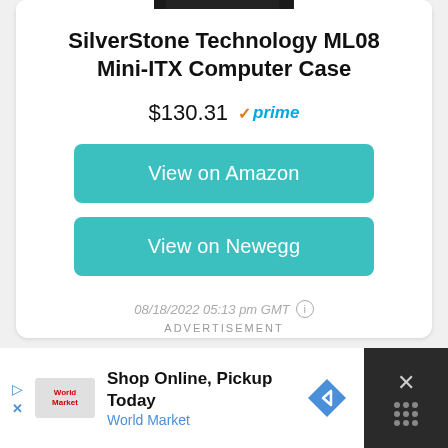[Figure (photo): Top portion of SilverStone ML08 Mini-ITX Computer Case product image, showing the top edge of the black computer case]
SilverStone Technology ML08 Mini-ITX Computer Case
$130.31  ✓prime
View on Amazon
View on Newegg
08/18/2022 05:13 pm GMT ⓘ
ADVERTISEMENT
[Figure (screenshot): Advertisement banner for World Market: Shop Online, Pickup Today with navigation arrow icon and close button]